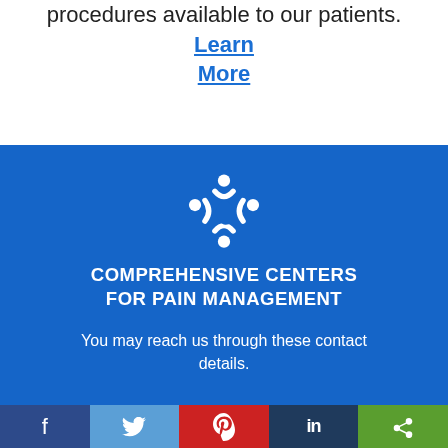procedures available to our patients. Learn More
[Figure (logo): Comprehensive Centers for Pain Management logo — white icon of four people in a circular arrangement on blue background, with organization name text below]
You may reach us through these contact details.
Social media icons: Facebook, Twitter, Pinterest, LinkedIn, Share